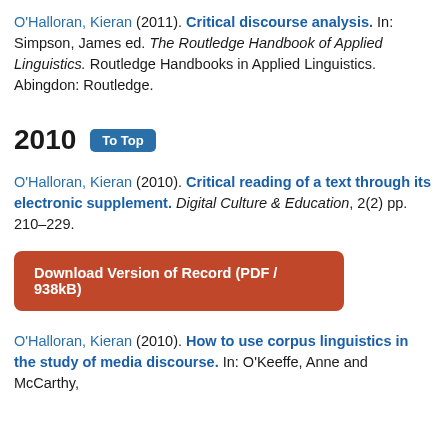O'Halloran, Kieran (2011). Critical discourse analysis. In: Simpson, James ed. The Routledge Handbook of Applied Linguistics. Routledge Handbooks in Applied Linguistics. Abingdon: Routledge.
2010
O'Halloran, Kieran (2010). Critical reading of a text through its electronic supplement. Digital Culture & Education, 2(2) pp. 210–229.
O'Halloran, Kieran (2010). How to use corpus linguistics in the study of media discourse. In: O'Keeffe, Anne and McCarthy,